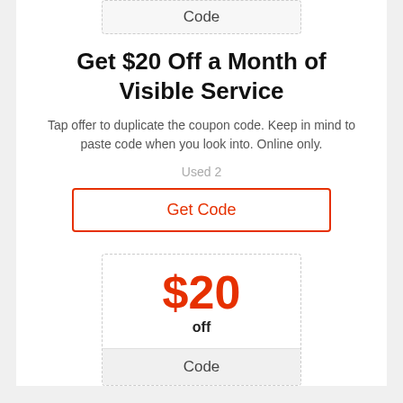Code
Get $20 Off a Month of Visible Service
Tap offer to duplicate the coupon code. Keep in mind to paste code when you look into. Online only.
Used 2
Get Code
in Visible Coupons
$20
off
Code